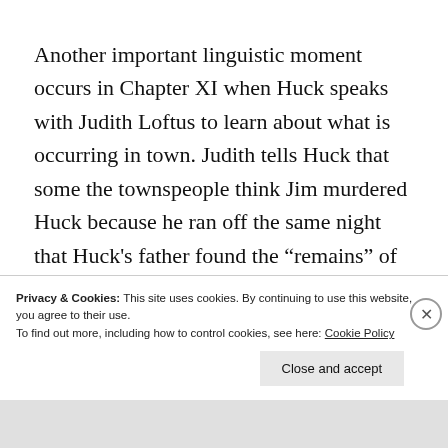Another important linguistic moment occurs in Chapter XI when Huck speaks with Judith Loftus to learn about what is occurring in town. Judith tells Huck that some the townspeople think Jim murdered Huck because he ran off the same night that Huck's father found the “remains” of Huck. She talks about the $300 reward for Jim and that her husband has gone off searching Jackson’s Island for any trace of
Privacy & Cookies: This site uses cookies. By continuing to use this website, you agree to their use.
To find out more, including how to control cookies, see here: Cookie Policy
Close and accept